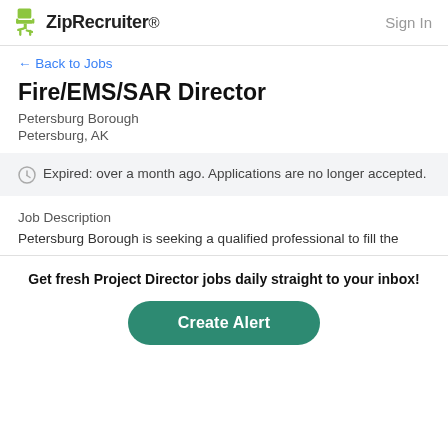ZipRecruiter — Sign In
← Back to Jobs
Fire/EMS/SAR Director
Petersburg Borough
Petersburg, AK
Expired: over a month ago. Applications are no longer accepted.
Job Description
Petersburg Borough is seeking a qualified professional to fill the
Get fresh Project Director jobs daily straight to your inbox!
Create Alert